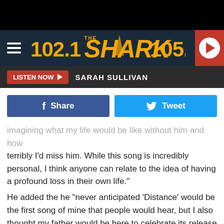[Figure (screenshot): 102.1 The Shark 105.3 radio station logo on dark navy background with hamburger menu and play button]
LISTEN NOW ▶   SARAH SULLIVAN
[Figure (infographic): Facebook Share button and Twitter Tweet button]
imagining what my life would be like without him and how terribly I'd miss him. While this song is incredibly personal, I think anyone can relate to the idea of having a profound loss in their own life."
He added the he "never anticipated 'Distance' would be the first song of mine that people would hear, but I also thought my father would be here to celebrate its release along with me."